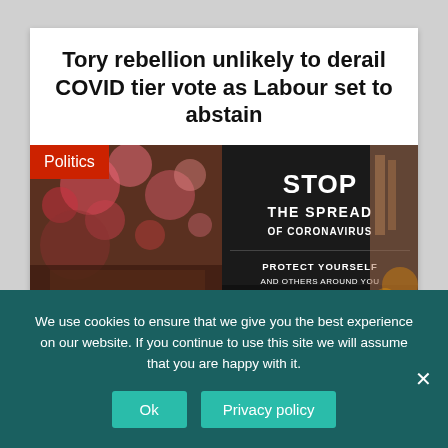Tory rebellion unlikely to derail COVID tier vote as Labour set to abstain
[Figure (photo): Photo showing a COVID-19 sign with text 'STOP THE SPREAD OF CORONAVIRUS', 'PROTECT YOURSELF AND OTHERS AROUND YOU', 'KEEP YOUR DISTANCE' on a black background, next to blurred red flowers and a blurred urban background. A red 'Politics' label is overlaid in the top-left corner.]
We use cookies to ensure that we give you the best experience on our website. If you continue to use this site we will assume that you are happy with it.